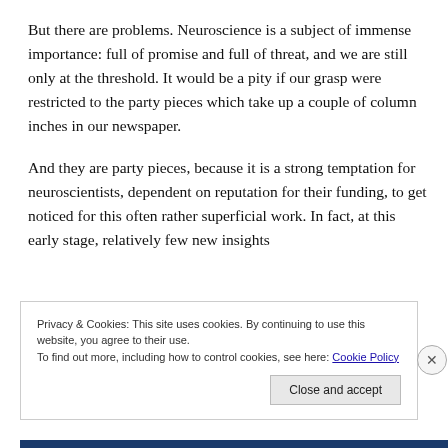But there are problems. Neuroscience is a subject of immense importance: full of promise and full of threat, and we are still only at the threshold. It would be a pity if our grasp were restricted to the party pieces which take up a couple of column inches in our newspaper.
And they are party pieces, because it is a strong temptation for neuroscientists, dependent on reputation for their funding, to get noticed for this often rather superficial work. In fact, at this early stage, relatively few new insights
Privacy & Cookies: This site uses cookies. By continuing to use this website, you agree to their use.
To find out more, including how to control cookies, see here: Cookie Policy